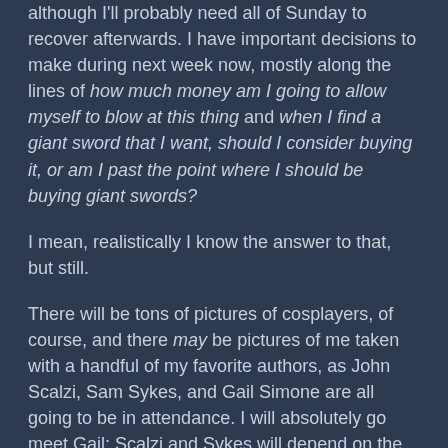although I'll probably need all of Sunday to recover afterwards. I have important decisions to make during next week now, mostly along the lines of how much money am I going to allow myself to blow at this thing and when I find a giant sword that I want, should I consider buying it, or am I past the point where I should be buying giant swords?
I mean, realistically I know the answer to that, but still.
There will be tons of pictures of cosplayers, of course, and there may be pictures of me taken with a handful of my favorite authors, as John Scalzi, Sam Sykes, and Gail Simone are all going to be in attendance. I will absolutely go meet Gail; Scalzi and Sykes will depend on the length of lines, as we'll